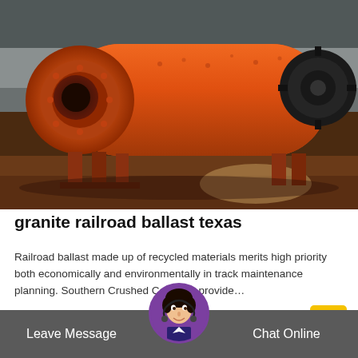[Figure (photo): Large orange industrial ball mill machine in a factory/warehouse setting. The cylindrical drum is oriented horizontally with a circular end cap on the left and a gear wheel on the right. The floor is unpaved/dirt.]
granite railroad ballast texas
Railroad ballast made up of recycled materials merits high priority both economically and environmentally in track maintenance planning. Southern Crushed Concrete provide…
Relase Time : 09-02
Leave Message  Chat Online